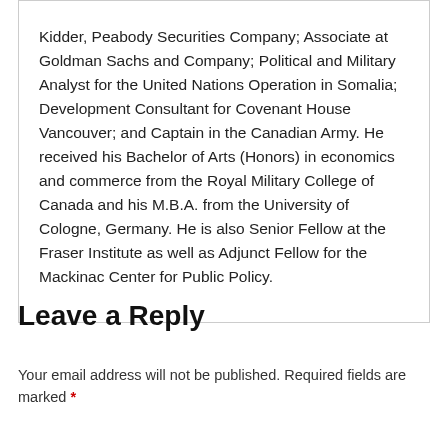Kidder, Peabody Securities Company; Associate at Goldman Sachs and Company; Political and Military Analyst for the United Nations Operation in Somalia; Development Consultant for Covenant House Vancouver; and Captain in the Canadian Army. He received his Bachelor of Arts (Honors) in economics and commerce from the Royal Military College of Canada and his M.B.A. from the University of Cologne, Germany. He is also Senior Fellow at the Fraser Institute as well as Adjunct Fellow for the Mackinac Center for Public Policy.
Leave a Reply
Your email address will not be published. Required fields are marked *